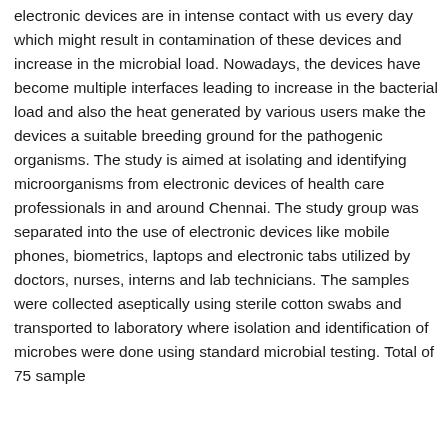electronic devices are in intense contact with us every day which might result in contamination of these devices and increase in the microbial load. Nowadays, the devices have become multiple interfaces leading to increase in the bacterial load and also the heat generated by various users make the devices a suitable breeding ground for the pathogenic organisms. The study is aimed at isolating and identifying microorganisms from electronic devices of health care professionals in and around Chennai. The study group was separated into the use of electronic devices like mobile phones, biometrics, laptops and electronic tabs utilized by doctors, nurses, interns and lab technicians. The samples were collected aseptically using sterile cotton swabs and transported to laboratory where isolation and identification of microbes were done using standard microbial testing. Total of 75 sample